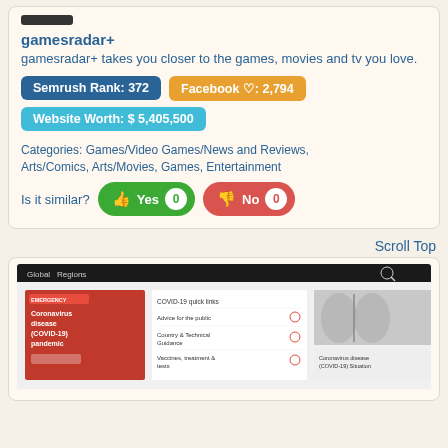gamesradar+
gamesradar+ takes you closer to the games, movies and tv you love.
Semrush Rank: 372
Facebook ♡: 2,794
Website Worth: $ 5,405,500
Categories: Games/Video Games/News and Reviews, Arts/Comics, Arts/Movies, Games, Entertainment
Is it similar? Yes 0  No 0
Scroll Top
[Figure (screenshot): Screenshot of a WHO Coronavirus disease (COVID-19) pandemic webpage with navigation bar, menu items including COVID-19 quick links, advice for the public, Country & Technical Guidance, Vaccines treatment & tests, and a lung scan image]